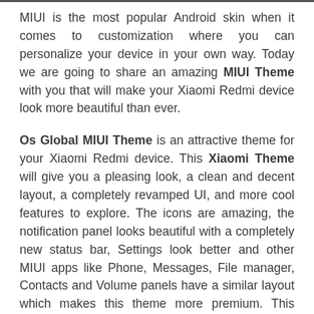MIUI is the most popular Android skin when it comes to customization where you can personalize your device in your own way. Today we are going to share an amazing MIUI Theme with you that will make your Xiaomi Redmi device look more beautiful than ever.
Os Global MIUI Theme is an attractive theme for your Xiaomi Redmi device. This Xiaomi Theme will give you a pleasing look, a clean and decent layout, a completely revamped UI, and more cool features to explore. The icons are amazing, the notification panel looks beautiful with a completely new status bar, Settings look better and other MIUI apps like Phone, Messages, File manager, Contacts and Volume panels have a similar layout which makes this theme more premium. This Redmi theme is completely free to use and you can easily download it on your Xiaomi or